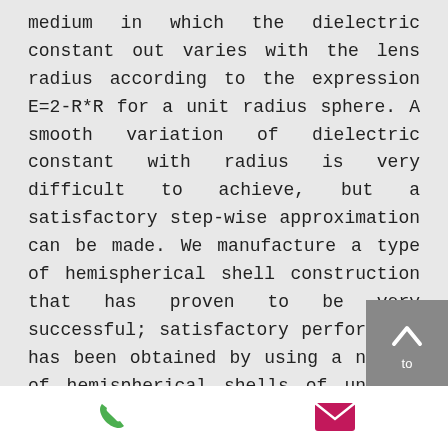medium in which the dielectric constant out varies with the lens radius according to the expression E=2-R*R for a unit radius sphere. A smooth variation of dielectric constant with radius is very difficult to achieve, but a satisfactory step-wise approximation can be made. We manufacture a type of hemispherical shell construction that has proven to be very successful; satisfactory performance has been obtained by using a number of hemispherical shells of uniform dielectric material to approximate a continuous gradient of dielectric constant.
[Figure (other): Scroll-to-top button (grey square with upward arrow icon and 'to' label)]
[Figure (other): Footer bar with green phone icon and magenta/pink envelope icon]